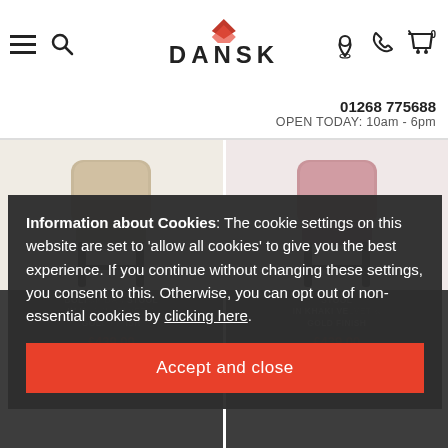DANSK — 01268 775688 — OPEN TODAY: 10am - 6pm
[Figure (photo): Two bar stools side by side: left one in tan/beige velvet with dark metal legs, right one in dusty pink velvet with dark metal legs]
BOLTON BAR STOOL IN KHAKI VELVET & GOLD FINISH
£439.00
BAR STOOL IN KHAKI VELVET & GOLD FINISH
£439.00
Information about Cookies: The cookie settings on this website are set to 'allow all cookies' to give you the best experience. If you continue without changing these settings, you consent to this. Otherwise, you can opt out of non-essential cookies by clicking here.
Accept and close